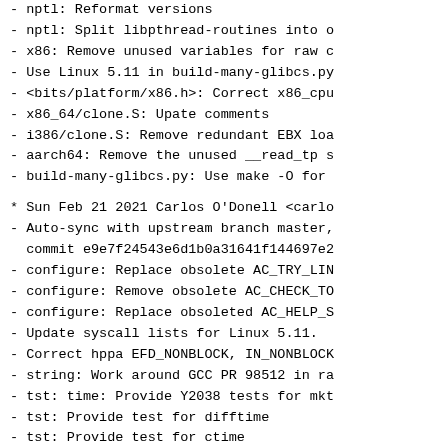- nptl: Reformat versions
- nptl: Split libpthread-routines into o
- x86: Remove unused variables for raw c
- Use Linux 5.11 in build-many-glibcs.py
- <bits/platform/x86.h>: Correct x86_cpu
- x86_64/clone.S: Upate comments
- i386/clone.S: Remove redundant EBX loa
- aarch64: Remove the unused __read_tp s
- build-many-glibcs.py: Use make -O for
* Sun Feb 21 2021 Carlos O'Donell <carlo
- Auto-sync with upstream branch master,
  commit e9e7f24543e6d1b0a31641f144697e2
- configure: Replace obsolete AC_TRY_LIN
- configure: Remove obsolete AC_CHECK_TO
- configure: Replace obsoleted AC_HELP_S
- Update syscall lists for Linux 5.11.
- Correct hppa EFD_NONBLOCK, IN_NONBLOCK
- string: Work around GCC PR 98512 in ra
- tst: time: Provide Y2038 tests for mkt
- tst: Provide test for difftime
- tst: Provide test for ctime
- tst: Provide test for sched_rr_get_int
- S390: Add new hwcap values.